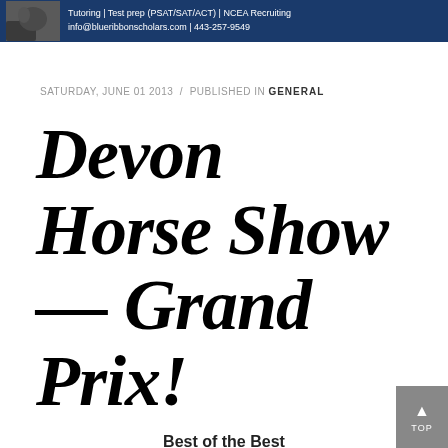[Figure (other): Blue banner advertisement for Blue Ribbon Scholars showing a horse and rider, with text: Tutoring | Test prep (PSAT/SAT/ACT) | NCEA Recruiting, info@blueribbonscholars.com | 443-257-9549]
SATURDAY, JUNE 01 2013  /  PUBLISHED IN GENERAL
Devon Horse Show — Grand Prix!
Best of the Best